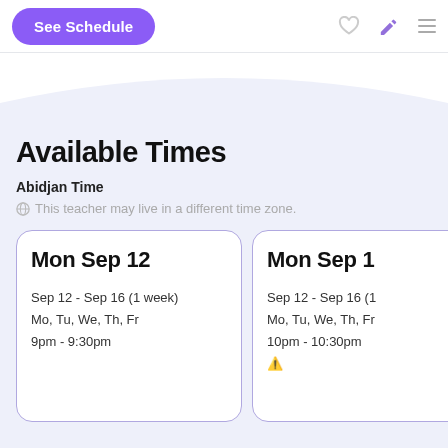See Schedule
Available Times
Abidjan Time
This teacher may live in a different time zone.
Mon Sep 12
Sep 12 - Sep 16 (1 week)
Mo, Tu, We, Th, Fr
9pm - 9:30pm
Mon Sep 1
Sep 12 - Sep 16 (1 ...
Mo, Tu, We, Th, Fr...
10pm - 10:30pm